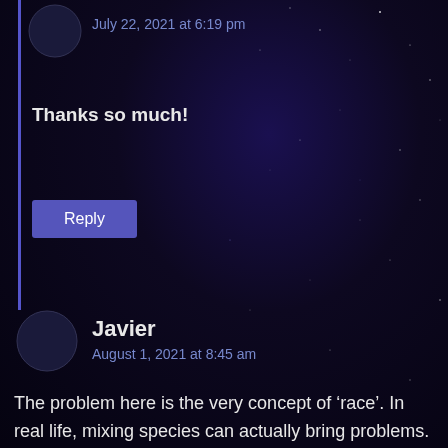July 22, 2021 at 6:19 pm
Thanks so much!
Reply
Javier
August 1, 2021 at 8:45 am
The problem here is the very concept of ‘race’. In real life, mixing species can actually bring problems. Like the offspring of a horse and a donkey will be sterile. But the mix of human races is not a problem because ‘races’ don’t exist. They are the imaginary